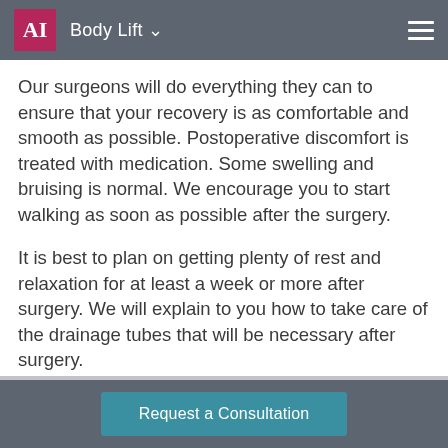AI  Body Lift
Our surgeons will do everything they can to ensure that your recovery is as comfortable and smooth as possible. Postoperative discomfort is treated with medication. Some swelling and bruising is normal. We encourage you to start walking as soon as possible after the surgery.
It is best to plan on getting plenty of rest and relaxation for at least a week or more after surgery. We will explain to you how to take care of the drainage tubes that will be necessary after surgery.
Request a Consultation